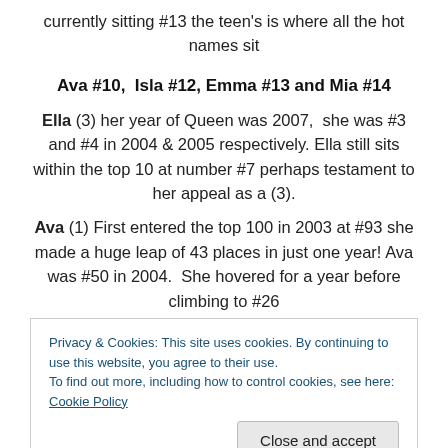currently sitting #13 the teen's is where all the hot names sit
Ava #10,  Isla #12, Emma #13 and Mia #14
Ella (3) her year of Queen was 2007,  she was #3 and #4 in 2004 & 2005 respectively. Ella still sits within the top 10 at number #7 perhaps testament to her appeal as a (3).
Ava (1) First entered the top 100 in 2003 at #93 she made a huge leap of 43 places in just one year! Ava was #50 in 2004.  She hovered for a year before climbing to #26
Privacy & Cookies: This site uses cookies. By continuing to use this website, you agree to their use.
To find out more, including how to control cookies, see here: Cookie Policy
sweetest undiscovered name until... She entered in 2004